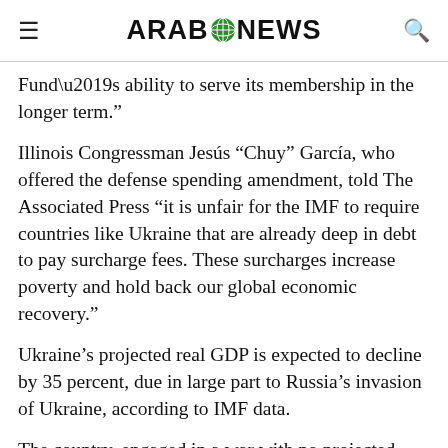ARAB NEWS
Fund’s ability to serve its membership in the longer term.”
Illinois Congressman Jesús “Chuy” García, who offered the defense spending amendment, told The Associated Press “it is unfair for the IMF to require countries like Ukraine that are already deep in debt to pay surcharge fees. These surcharges increase poverty and hold back our global economic recovery.”
Ukraine’s projected real GDP is expected to decline by 35 percent, due in large part to Russia’s invasion of Ukraine, according to IMF data.
The country, engaged in a war with no projected